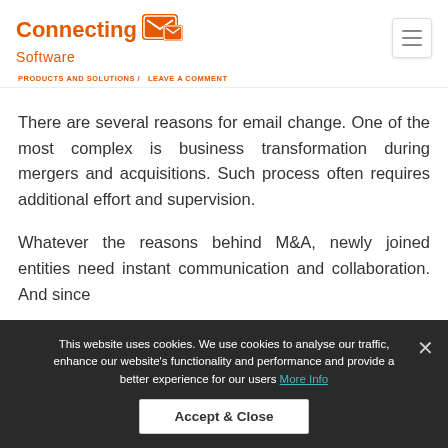Connecting Software
PRODUCTS AND SOLUTIONS / LEAVE A COMMENT
There are several reasons for email change. One of the most complex is business transformation during mergers and acquisitions. Such process often requires additional effort and supervision.
Whatever the reasons behind M&A, newly joined entities need instant communication and collaboration. And since
This website uses cookies. We use cookies to analyse our traffic, enhance our website's functionality and performance and provide a better experience for our users More Info
Accept & Close